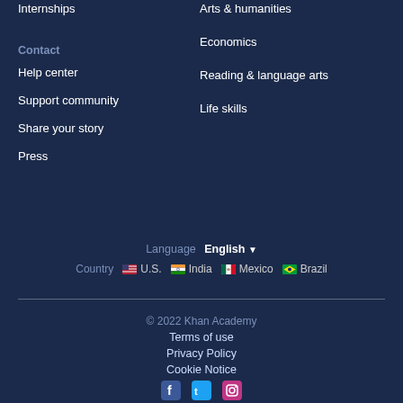Internships
Arts & humanities
Economics
Contact
Reading & language arts
Help center
Life skills
Support community
Share your story
Press
Language  English
Country  U.S.  India  Mexico  Brazil
© 2022 Khan Academy
Terms of use
Privacy Policy
Cookie Notice